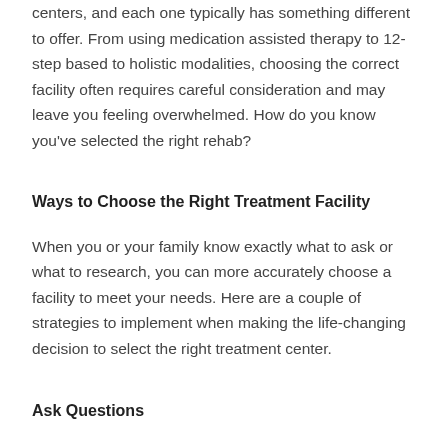centers, and each one typically has something different to offer. From using medication assisted therapy to 12-step based to holistic modalities, choosing the correct facility often requires careful consideration and may leave you feeling overwhelmed. How do you know you've selected the right rehab?
Ways to Choose the Right Treatment Facility
When you or your family know exactly what to ask or what to research, you can more accurately choose a facility to meet your needs. Here are a couple of strategies to implement when making the life-changing decision to select the right treatment center.
Ask Questions
A reputable treatment facility is happy to answer detailed questions. Some important questions to ask include the